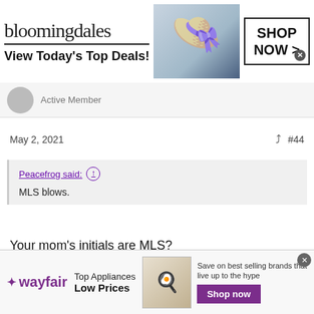[Figure (screenshot): Bloomingdales advertisement banner: logo, 'View Today's Top Deals!', woman in hat photo, 'SHOP NOW >' button]
Active Member
May 2, 2021    #44
Peacefrog said: ↑
MLS blows.
Your mom's initials are MLS?
[Figure (screenshot): Wayfair advertisement: logo, 'Top Appliances Low Prices', appliance photo, 'Save on best selling brands that live up to the hype', purple 'Shop now' button]